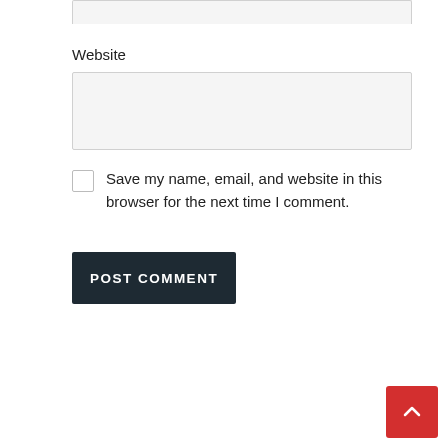Website
Save my name, email, and website in this browser for the next time I comment.
POST COMMENT